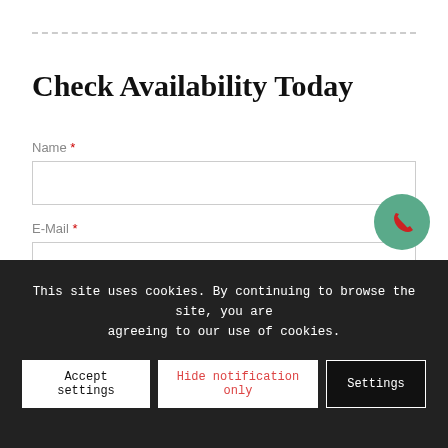Check Availability Today
Name *
E-Mail *
Subject *
This site uses cookies. By continuing to browse the site, you are agreeing to our use of cookies.
Accept settings
Hide notification only
Settings